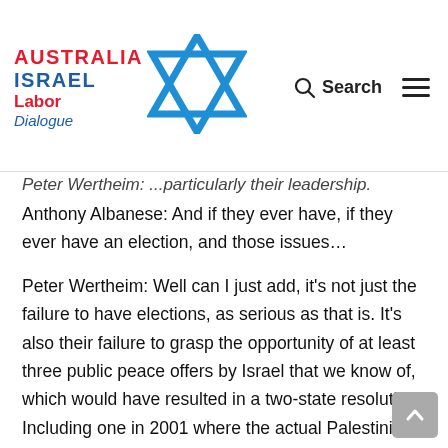Australia Israel Labor Dialogue — website header with logo and navigation
Peter Wertheim: ...particularly their leadership.
Anthony Albanese: And if they ever have, if they ever have an election, and those issues…
Peter Wertheim: Well can I just add, it's not just the failure to have elections, as serious as that is. It's also their failure to grasp the opportunity of at least three public peace offers by Israel that we know of, which would have resulted in a two-state resolution. Including one in 2001 where the actual Palestinian and Israeli negotiators at the end of it issued a joint statement saying that they'd never been closer to reaching an agreement and that with a bit more time and support from their governments they could actually, they were confident they could actually do the deal. And there are